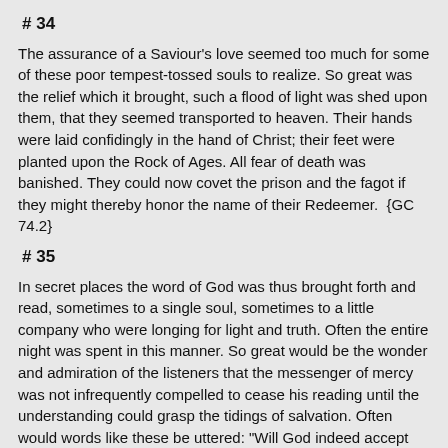# 34
The assurance of a Saviour's love seemed too much for some of these poor tempest-tossed souls to realize. So great was the relief which it brought, such a flood of light was shed upon them, that they seemed transported to heaven. Their hands were laid confidingly in the hand of Christ; their feet were planted upon the Rock of Ages. All fear of death was banished. They could now covet the prison and the fagot if they might thereby honor the name of their Redeemer.  {GC 74.2}
# 35
In secret places the word of God was thus brought forth and read, sometimes to a single soul, sometimes to a little company who were longing for light and truth. Often the entire night was spent in this manner. So great would be the wonder and admiration of the listeners that the messenger of mercy was not infrequently compelled to cease his reading until the understanding could grasp the tidings of salvation. Often would words like these be uttered: "Will God indeed accept my offering? Will He smile upon me? Will He pardon me?" The answer was read: "Come unto Me, all ye that labor and are heavy-laden, and I will give your rest." Matthew 11:28. {GC 74.3}